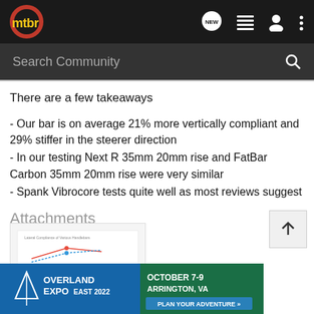mtbr — navigation bar with search
There are a few takeaways
- Our bar is on average 21% more vertically compliant and 29% stiffer in the steerer direction
- In our testing Next R 35mm 20mm rise and FatBar Carbon 35mm 20mm rise were very similar
- Spank Vibrocore tests quite well as most reviews suggest
Attachments
[Figure (other): Attachment thumbnail showing a chart/diagram]
[Figure (other): Overland Expo East 2022 advertisement banner — October 7-9, Arrington, VA, Plan Your Adventure]